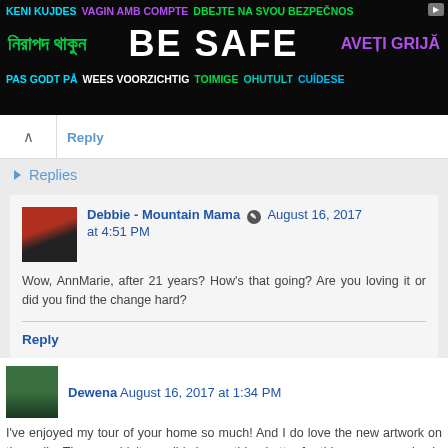[Figure (infographic): Multilingual 'Be Safe' banner advertisement with text in multiple languages on dark background]
Reply
Replies
Debbie - Mountain Mama August 16, 2017 at 4:51 PM
Wow, AnnMarie, after 21 years? How's that going? Are you loving it or did you find the change hard?
Reply
Dewena August 16, 2017 at 1:34 PM
I've enjoyed my tour of your home so much! And I do love the new artwork on the walls. There couldn't possibly be anything better for this room you relax in than local photos of the beauty where you live. And then over the bar is an